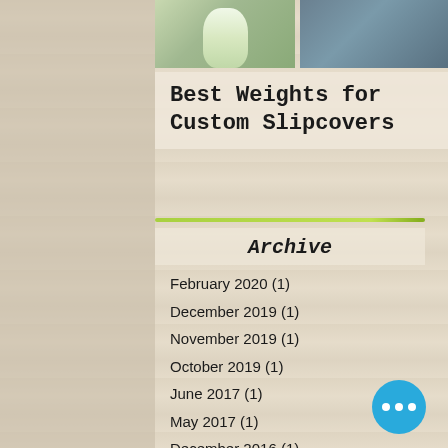[Figure (photo): Top photo strip showing a white/cream ceramic vase on the left and teal/grey fabric or blanket on the right]
Best Weights for Custom Slipcovers
Archive
February 2020 (1)
December 2019 (1)
November 2019 (1)
October 2019 (1)
June 2017 (1)
May 2017 (1)
December 2016 (1)
November 2016 (1)
September 2016 (1)